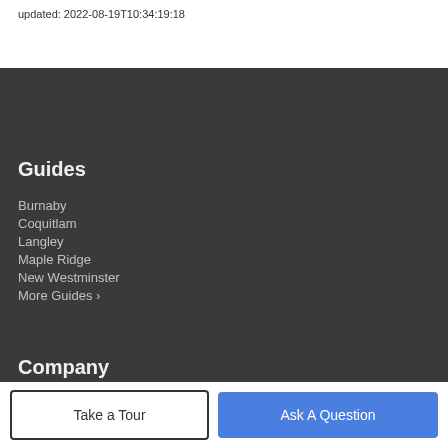updated: 2022-08-19T10:34:19:18
Guides
Burnaby
Coquitlam
Langley
Maple Ridge
New Westminster
More Guides >
Company
Meet The Team
Our Blog
Contact Us
Take a Tour
Ask A Question